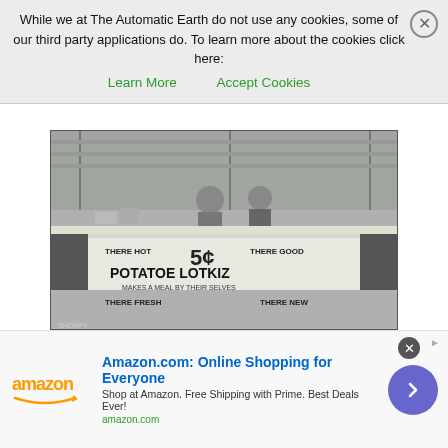While we at The Automatic Earth do not use any cookies, some of our third party applications do. To learn more about the cookies click here: Learn More  Accept Cookies
[Figure (photo): Black and white photograph of a refreshment stand at a county fair in central Ohio, August 1938. Two women stand behind a long counter. A sign on the front reads: THERE HOT  5¢  THERE GOOD / POTATOE LOTKIZ / MAKES A MEAL BY THEIR SELVES / THERE FRESH  THERE NEW. Photo credit: SHORPY.]
Ben Shahn Refreshment stand at county fair, central Ohio Aug 1938
After yesterday's claim from Kiev that Russia had threatened multiple
[Figure (screenshot): Amazon advertisement banner. Shows Amazon logo, headline 'Amazon.com: Online Shopping for Everyone', subtext 'Shop at Amazon. Free Shipping with Prime. Best Deals Ever!', url 'amazon.com', and a purple circle arrow button on the right. Close button (x) at top right.]